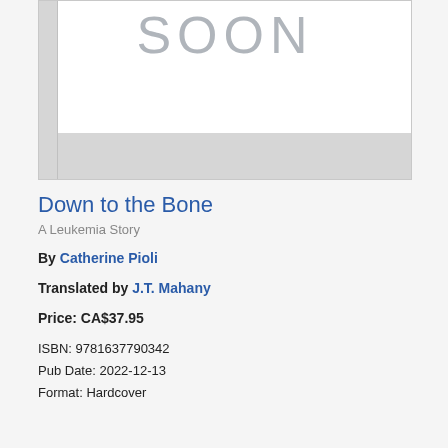[Figure (illustration): Book cover placeholder showing 'SOON' text in light gray on white background, with a gray spine on the left and a gray band at the bottom.]
Down to the Bone
A Leukemia Story
By Catherine Pioli
Translated by J.T. Mahany
Price: CA$37.95
ISBN: 9781637790342
Pub Date: 2022-12-13
Format: Hardcover